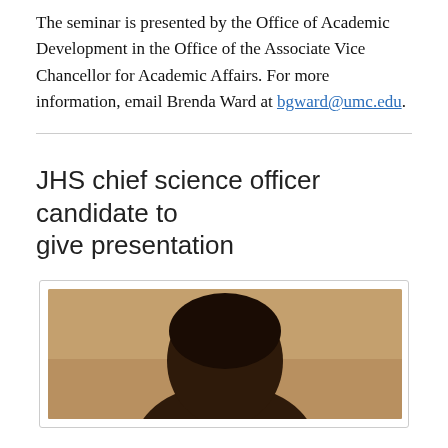The seminar is presented by the Office of Academic Development in the Office of the Associate Vice Chancellor for Academic Affairs. For more information, email Brenda Ward at bgward@umc.edu.
JHS chief science officer candidate to give presentation
[Figure (photo): Portrait photograph of a person with dark complexion, head and upper shoulders visible, against a tan/wooden background]